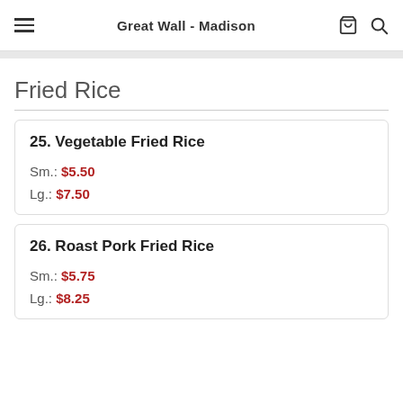Great Wall - Madison
Fried Rice
25. Vegetable Fried Rice
Sm.: $5.50
Lg.: $7.50
26. Roast Pork Fried Rice
Sm.: $5.75
Lg.: $8.25